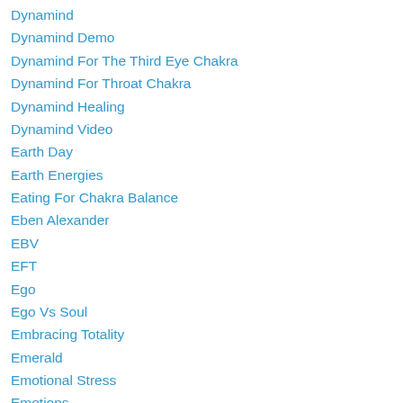Dynamind
Dynamind Demo
Dynamind For The Third Eye Chakra
Dynamind For Throat Chakra
Dynamind Healing
Dynamind Video
Earth Day
Earth Energies
Eating For Chakra Balance
Eben Alexander
EBV
EFT
Ego
Ego Vs Soul
Embracing Totality
Emerald
Emotional Stress
Emotions
Empowering Yourself
Energizing The Chakras
Energy